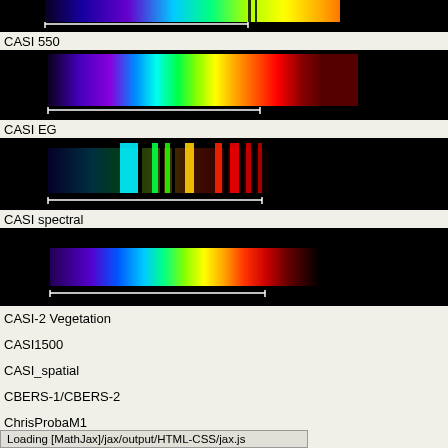[Figure (continuous-plot): CASI 550 hyperspectral sensor spectrum bar showing rainbow gradient from violet/blue through green, yellow, orange to red and dark red, with wavelength scale below]
[Figure (continuous-plot): CASI EG sensor spectrum bar showing discrete spectral bands: cyan, green, yellow-orange, and red narrow lines on black background]
[Figure (continuous-plot): CASI spectral sensor spectrum bar showing many dense narrow vertical lines across rainbow gradient spectrum]
CASI-2 Vegetation
CASI1500
CASI_spatial
CBERS-1/CBERS-2
ChrisProbaM1
Loading [MathJax]/jax/output/HTML-CSS/jax.js